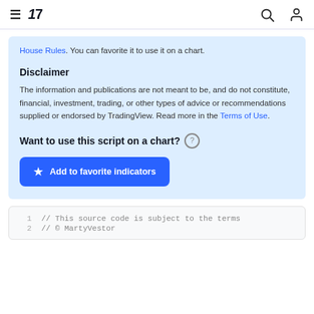TradingView
House Rules. You can favorite it to use it on a chart.
Disclaimer
The information and publications are not meant to be, and do not constitute, financial, investment, trading, or other types of advice or recommendations supplied or endorsed by TradingView. Read more in the Terms of Use.
Want to use this script on a chart?
Add to favorite indicators
// This source code is subject to the terms
// © MartyVestor